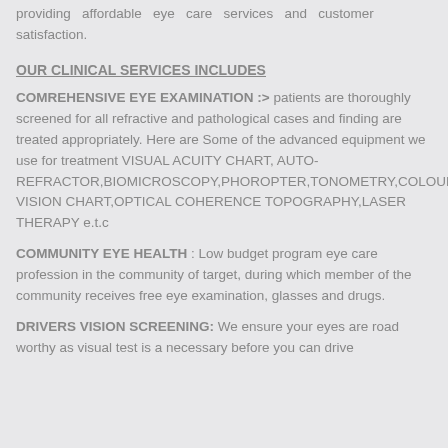providing affordable eye care services and customer satisfaction.
OUR CLINICAL SERVICES INCLUDES
COMREHENSIVE EYE EXAMINATION :> patients are thoroughly screened for all refractive and pathological cases and finding are treated appropriately. Here are Some of the advanced equipment we use for treatment VISUAL ACUITY CHART, AUTO-REFRACTOR,BIOMICROSCOPY,PHOROPTER,TONOMETRY,COLOUR VISION CHART,OPTICAL COHERENCE TOPOGRAPHY,LASER THERAPY e.t.c
COMMUNITY EYE HEALTH : Low budget program eye care profession in the community of target, during which member of the community receives free eye examination, glasses and drugs.
DRIVERS VISION SCREENING: We ensure your eyes are road worthy as visual test is a necessary before you can drive